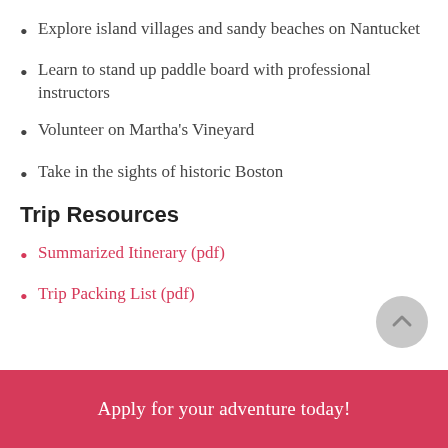Explore island villages and sandy beaches on Nantucket
Learn to stand up paddle board with professional instructors
Volunteer on Martha's Vineyard
Take in the sights of historic Boston
Trip Resources
Summarized Itinerary (pdf)
Trip Packing List (pdf)
Apply for your adventure today!